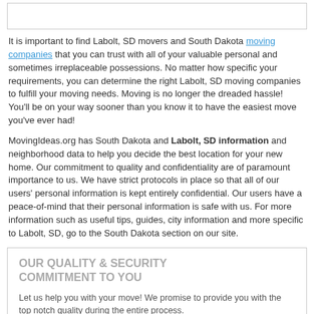[Figure (other): Empty white box with border at top of page]
It is important to find Labolt, SD movers and South Dakota moving companies that you can trust with all of your valuable personal and sometimes irreplaceable possessions. No matter how specific your requirements, you can determine the right Labolt, SD moving companies to fulfill your moving needs. Moving is no longer the dreaded hassle! You'll be on your way sooner than you know it to have the easiest move you've ever had!
MovingIdeas.org has South Dakota and Labolt, SD information and neighborhood data to help you decide the best location for your new home. Our commitment to quality and confidentiality are of paramount importance to us. We have strict protocols in place so that all of our users' personal information is kept entirely confidential. Our users have a peace-of-mind that their personal information is safe with us. For more information such as useful tips, guides, city information and more specific to Labolt, SD, go to the South Dakota section on our site.
OUR QUALITY & SECURITY COMMITMENT TO YOU
Let us help you with your move! We promise to provide you with the top notch quality during the entire process.
SUCCESS STORY